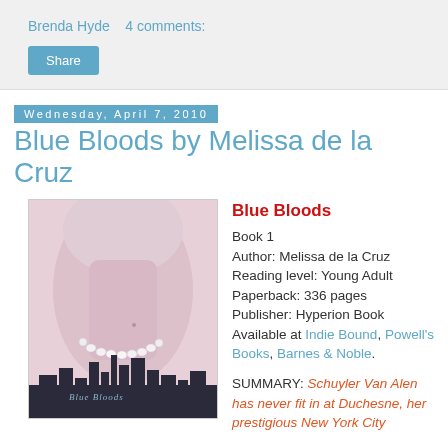Brenda Hyde    4 comments:
Share
Wednesday, April 7, 2010
Blue Bloods by Melissa de la Cruz
[Figure (photo): Book cover of Blue Bloods showing a woman's neck with pearl necklace and city skyline silhouette at bottom]
Blue Bloods
Book 1
Author: Melissa de la Cruz
Reading level: Young Adult
Paperback: 336 pages
Publisher: Hyperion Book
Available at Indie Bound, Powell's Books, Barnes & Noble.
SUMMARY: Schuyler Van Alen has never fit in at Duchesne, her prestigious New York City